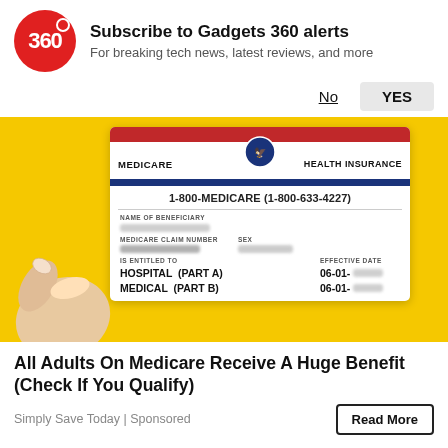Subscribe to Gadgets 360 alerts
For breaking tech news, latest reviews, and more
[Figure (photo): Medicare Health Insurance card being held by a hand against a yellow background. Card shows: MEDICARE HEALTH INSURANCE, 1-800-MEDICARE (1-800-633-4227), NAME OF BENEFICIARY (blurred), SEX (blurred), MEDICARE CLAIM NUMBER (blurred), IS ENTITLED TO: HOSPITAL (PART A) 06-01- [blurred], MEDICAL (PART B) 06-01- [blurred], EFFECTIVE DATE]
All Adults On Medicare Receive A Huge Benefit (Check If You Qualify)
Simply Save Today | Sponsored